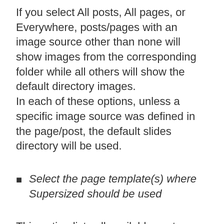If you select All posts, All pages, or Everywhere, posts/pages with an image source other than none will show images from the corresponding folder while all others will show the default directory images.
In each of these options, unless a specific image source was defined in the page/post, the default slides directory will be used.
Select the page template(s) where Supersized should be used
This option lists all available custom templates in the current theme. You may select one or several of them.
The list is empty if your current theme does not use any custom template.
Please reset the options when you change theme to make sure that the list is updated.